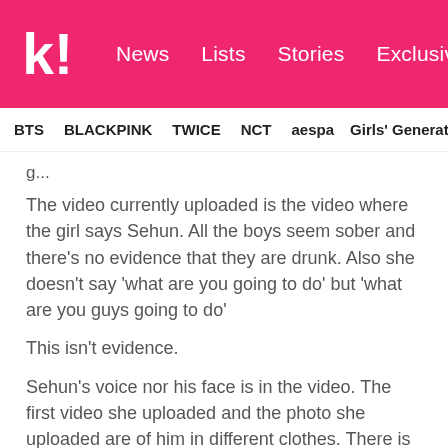Koreaboo — News | Lists | Stories | Exclusives
BTS  BLACKPINK  TWICE  NCT  aespa  Girls' Generation
The video currently uploaded is the video where the girl says Sehun. All the boys seem sober and there's no evidence that they are drunk. Also she doesn't say 'what are you going to do' but 'what are you guys going to do'
This isn't evidence.
Sehun's voice nor his face is in the video. The first video she uploaded and the photo she uploaded are of him in different clothes. There is no real evidence.